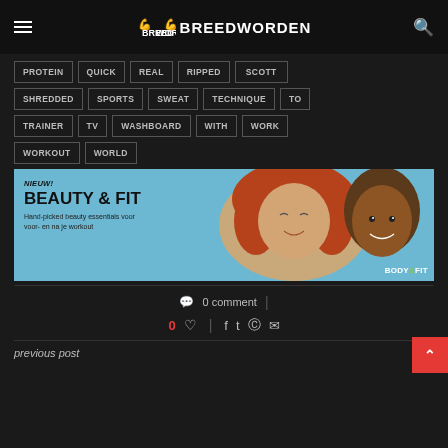BREEDWORDEN
PROTEIN
QUICK
REAL
RIPPED
SCOTT
SHREDDED
SPORTS
SWEAT
TECHNIQUE
TO
TRAINER
TV
WASHBOARD
WITH
WORK
WORKOUT
WORLD
[Figure (photo): Advertisement banner for Body & Fit: NIEUW! BEAUTY & FIT - Hand-picked beauty essentials voor voor- en na je workout. Shows two models on light blue background with BODY&FIT logo.]
0 comment
0
previous post